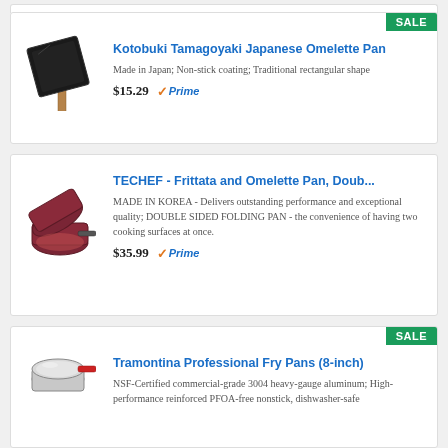[Figure (photo): Kotobuki Tamagoyaki Japanese Omelette Pan product image - black rectangular pan with wooden handle]
Kotobuki Tamagoyaki Japanese Omelette Pan
Made in Japan; Non-stick coating; Traditional rectangular shape
$15.29 ✓Prime
[Figure (photo): TECHEF Frittata and Omelette Pan double sided folding pan product image - dark red/burgundy pan]
TECHEF - Frittata and Omelette Pan, Doub...
MADE IN KOREA - Delivers outstanding performance and exceptional quality; DOUBLE SIDED FOLDING PAN - the convenience of having two cooking surfaces at once.
$35.99 ✓Prime
[Figure (photo): Tramontina Professional Fry Pans 8-inch product image - silver pan with red handle]
Tramontina Professional Fry Pans (8-inch)
NSF-Certified commercial-grade 3004 heavy-gauge aluminum; High-performance reinforced PFOA-free nonstick, dishwasher-safe